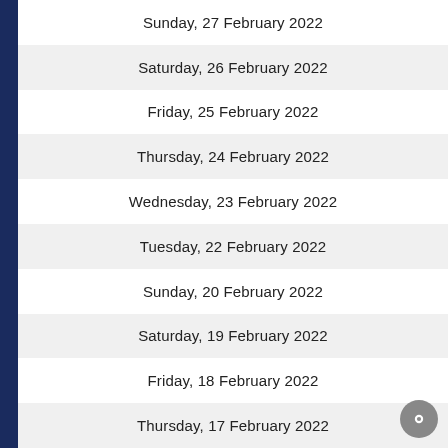Sunday, 27 February 2022
Saturday, 26 February 2022
Friday, 25 February 2022
Thursday, 24 February 2022
Wednesday, 23 February 2022
Tuesday, 22 February 2022
Sunday, 20 February 2022
Saturday, 19 February 2022
Friday, 18 February 2022
Thursday, 17 February 2022